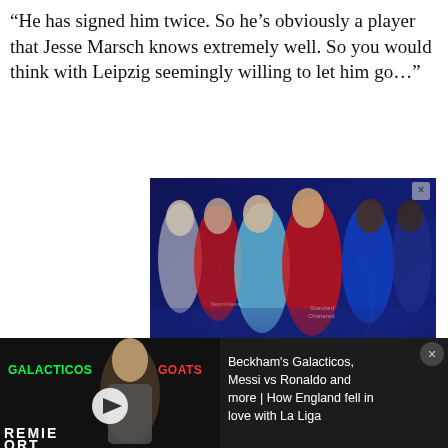“He has signed him twice. So he’s obviously a player that Jesse Marsch knows extremely well. So you would think with Leipzig seemingly willing to let him go…”
[Figure (photo): Advertisement banner for 'The Top 6' football podcast featuring Premier League players including Harry Kane, Cristiano Ronaldo, Kevin De Bruyne, Mohamed Salah, Romelu Lukaku and another player in their club kits against a blue neon background. Text reads THE 6 TOP with arrows and LISTEN ON with Spotify, Apple Podcasts, Amazon Music and Google Podcasts icons.]
[Figure (screenshot): Video thumbnail showing a podcast or show called Galacticos and Goats with a man in a blazer, with text overlay reading: Beckham's Galacticos, Messi vs Ronaldo and more | How England fell in love with La Liga. There is a play button in the center and text at the bottom showing PREMIER SPORTS.]